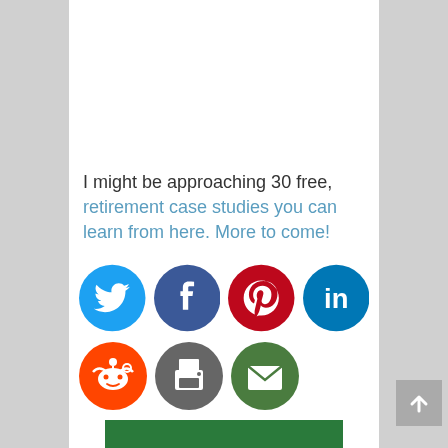I might be approaching 30 free, retirement case studies you can learn from here. More to come!
[Figure (infographic): Social media share buttons: Twitter (blue circle), Facebook (dark blue circle), Pinterest (red circle), LinkedIn (dark blue circle), Reddit (red circle), Print (dark gray circle), Email (green circle)]